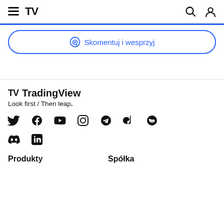TradingView navigation header with hamburger menu, TV logo, search icon, and user icon
Skomentuj i wesprzyj
[Figure (logo): TradingView logo and tagline: Look first / Then leap.]
[Figure (infographic): Social media icons row: Twitter, Facebook, YouTube, Instagram, Telegram, TikTok, Reddit, Discord, LinkedIn]
Produkty   Spółka